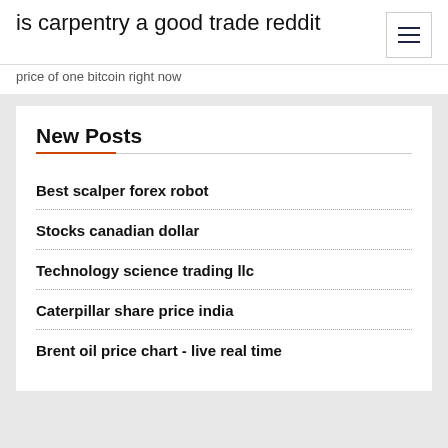is carpentry a good trade reddit
price of one bitcoin right now
New Posts
Best scalper forex robot
Stocks canadian dollar
Technology science trading llc
Caterpillar share price india
Brent oil price chart - live real time